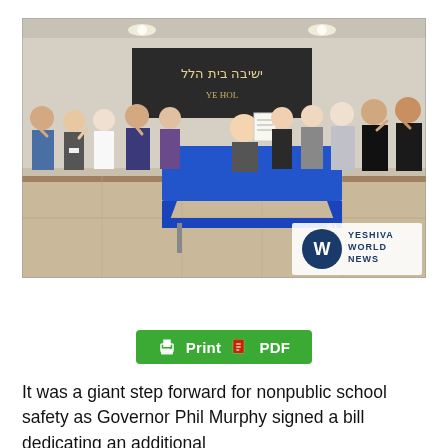[Figure (photo): Group photo of officials and attendees applauding at a bill signing ceremony. A man seated at a blue-draped table holds up a signed document. A banner with Hebrew text 'Yeshiva Beit Hillel' is visible in the background. The Yeshiva World News logo is displayed in the lower right corner of the photo.]
[Figure (other): Green button with printer icon labeled 'Print' and PDF icon labeled 'PDF']
It was a giant step forward for nonpublic school safety as Governor Phil Murphy signed a bill dedicating an additional